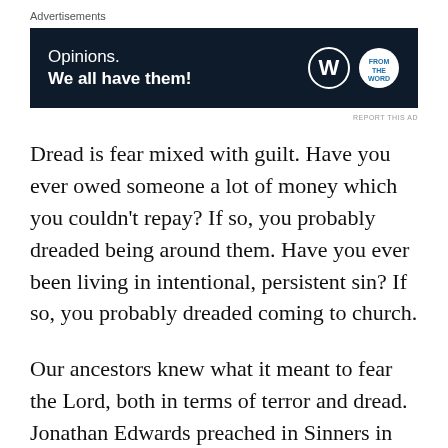Advertisements
[Figure (other): Advertisement banner with dark navy background. Text reads: 'Opinions. We all have them!' with WordPress logo (W) and a circular badge logo on the right.]
REPORT THIS AD
Dread is fear mixed with guilt. Have you ever owed someone a lot of money which you couldn't repay? If so, you probably dreaded being around them. Have you ever been living in intentional, persistent sin? If so, you probably dreaded coming to church.
Our ancestors knew what it meant to fear the Lord, both in terms of terror and dread. Jonathan Edwards preached in Sinners in the Hands of an Angry